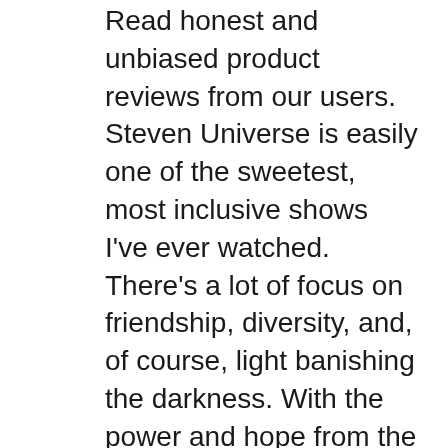Read honest and unbiased product reviews from our users. Steven Universe is easily one of the sweetest, most inclusive shows I've ever watched. There's a lot of focus on friendship, diversity, and, of course, light banishing the darkness. With the power and hope from the Crystal Gems and their desire to protect Steven, a simple boy with a huge heart, each episode of the series is memorable.
24/05/2018В В· When Steven Universe вЂ" Save the Light launched on Xbox One and PS4, it was a bit of a technical mess (see the Polygon review, for example). What made this so sad was that the RPG was otherwise a faithful,